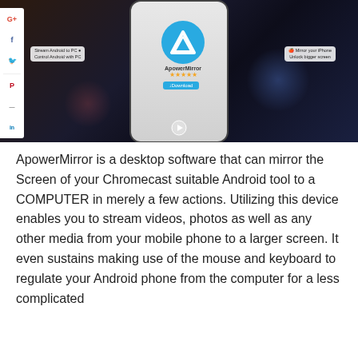[Figure (screenshot): ApowerMirror app website screenshot showing a dark background with phone mockup displaying the ApowerMirror app logo (blue circle with M), app name, star rating, and download button. Callout boxes on left read 'Stream Android to PC' and 'Control Android with PC'; on right 'Mirror your iPhone' and 'Unlock bigger screen'. Social sharing sidebar on left with G+, f, Twitter, Pinterest, LinkedIn icons. Play button at bottom center.]
ApowerMirror is a desktop software that can mirror the Screen of your Chromecast suitable Android tool to a COMPUTER in merely a few actions. Utilizing this device enables you to stream videos, photos as well as any other media from your mobile phone to a larger screen. It even sustains making use of the mouse and keyboard to regulate your Android phone from the computer for a less complicated